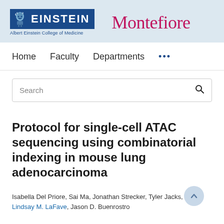[Figure (logo): Albert Einstein College of Medicine and Montefiore logos on a light blue banner background]
Home   Faculty   Departments   ...
Search
Protocol for single-cell ATAC sequencing using combinatorial indexing in mouse lung adenocarcinoma
Isabella Del Priore, Sai Ma, Jonathan Strecker, Tyler Jacks, Lindsay M. LaFave, Jason D. Buenrostro